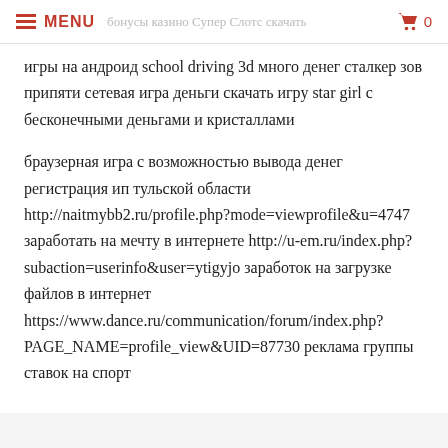MENU | бонусы казино Супер Слотс скачать | 0
игры на андроид school driving 3d много денег сталкер зов припяти сетевая игра деньги скачать игру star girl с бесконечными деньгами и кристаллами
браузерная игра с возможностью вывода денег регистрация ип тульской области http://naitmybb2.ru/profile.php?mode=viewprofile&u=4747 заработать на мечту в интернете http://u-em.ru/index.php?subaction=userinfo&user=ytigyjo заработок на загрузке файлов в интернет https://www.dance.ru/communication/forum/index.php?PAGE_NAME=profile_view&UID=87730 реклама группы ставок на спорт